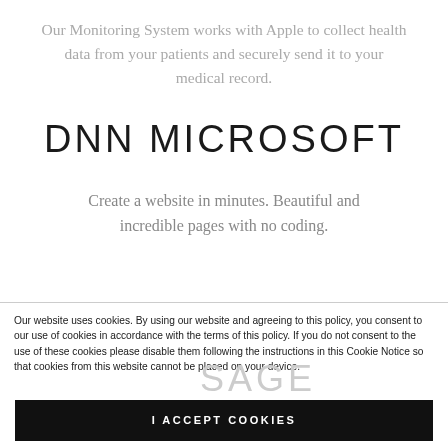Our Monitoring System works with Apple to collect health data from your patients and securely send it to your medical record.
DNN MICROSOFT
Create a website in minutes. Beautiful and incredible pages with no coding.
Our website uses cookies. By using our website and agreeing to this policy, you consent to our use of cookies in accordance with the terms of this policy. If you do not consent to the use of these cookies please disable them following the instructions in this Cookie Notice so that cookies from this website cannot be placed on your device.
SAGE
I ACCEPT COOKIES